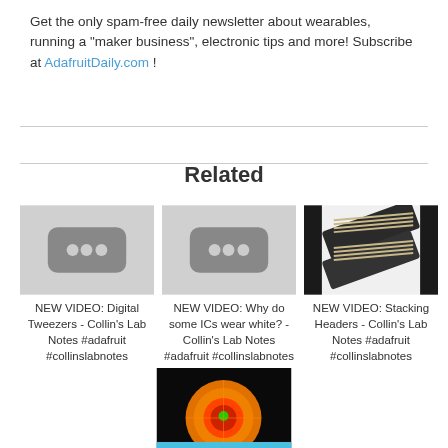Get the only spam-free daily newsletter about wearables, running a "maker business", electronic tips and more! Subscribe at AdafruitDaily.com !
Related
[Figure (screenshot): Thumbnail placeholder for NEW VIDEO: Digital Tweezers - Collin's Lab Notes #adafruit #collinslabnotes]
NEW VIDEO: Digital Tweezers - Collin's Lab Notes #adafruit #collinslabnotes
[Figure (screenshot): Thumbnail placeholder for NEW VIDEO: Why do some ICs wear white? - Collin's Lab Notes #adafruit #collinslabnotes]
NEW VIDEO: Why do some ICs wear white? - Collin's Lab Notes #adafruit #collinslabnotes
[Figure (photo): Photo of stacking headers - IC components on white background for NEW VIDEO: Stacking Headers - Collin's Lab Notes #adafruit #collinslabnotes]
NEW VIDEO: Stacking Headers - Collin's Lab Notes #adafruit #collinslabnotes
[Figure (photo): Glowing orange/red circular electronic component on black background]